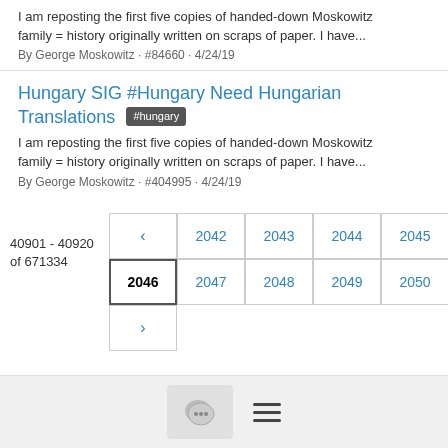I am reposting the first five copies of handed-down Moskowitz family = history originally written on scraps of paper. I have...
By George Moskowitz · #84660 · 4/24/19
Hungary SIG #Hungary Need Hungarian Translations #hungary
I am reposting the first five copies of handed-down Moskowitz family = history originally written on scraps of paper. I have...
By George Moskowitz · #404995 · 4/24/19
40901 - 40920 of 671334
< 2042 2043 2044 2045 2046 2047 2048 2049 2050 >